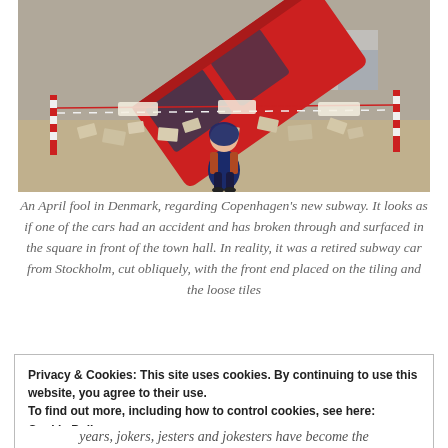[Figure (photo): A photo of a child standing in front of a red subway car that appears to have crashed through a tiled square, with rubble/loose tiles around it and red-and-white barrier tape. An April fool installation in Denmark regarding Copenhagen's new subway.]
An April fool in Denmark, regarding Copenhagen's new subway. It looks as if one of the cars had an accident and has broken through and surfaced in the square in front of the town hall. In reality, it was a retired subway car from Stockholm, cut obliquely, with the front end placed on the tiling and the loose tiles
Privacy & Cookies: This site uses cookies. By continuing to use this website, you agree to their use.
To find out more, including how to control cookies, see here:
Cookie Policy
years, jokers, jesters and jokesters have become the